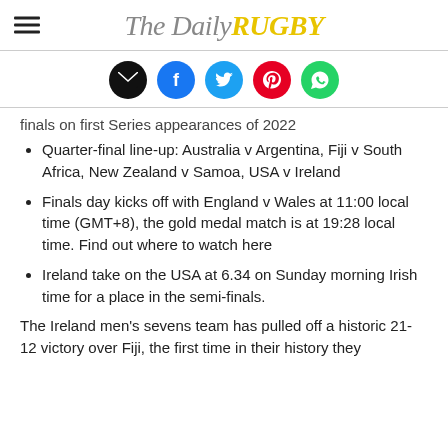The Daily RUGBY
[Figure (infographic): Social sharing icons row: email (black), Facebook (blue), Twitter (light blue), Pinterest (red), WhatsApp (green)]
finals on first Series appearances of 2022
Quarter-final line-up: Australia v Argentina, Fiji v South Africa, New Zealand v Samoa, USA v Ireland
Finals day kicks off with England v Wales at 11:00 local time (GMT+8), the gold medal match is at 19:28 local time. Find out where to watch here
Ireland take on the USA at 6.34 on Sunday morning Irish time for a place in the semi-finals.
The Ireland men's sevens team has pulled off a historic 21-12 victory over Fiji, the first time in their history they